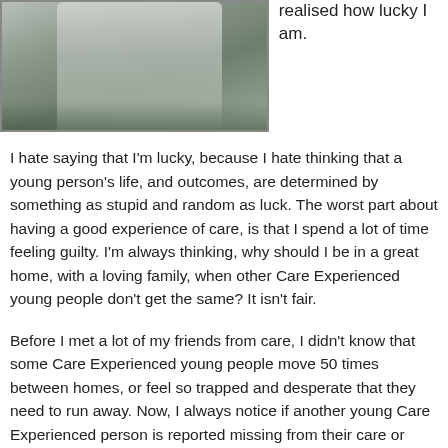[Figure (photo): A photo of a young person standing near a stone ledge or fountain, wearing a light-coloured jacket, outdoors.]
realised how lucky I am.
I hate saying that I'm lucky, because I hate thinking that a young person's life, and outcomes, are determined by something as stupid and random as luck. The worst part about having a good experience of care, is that I spend a lot of time feeling guilty. I'm always thinking, why should I be in a great home, with a loving family, when other Care Experienced young people don't get the same? It isn't fair.
Before I met a lot of my friends from care, I didn't know that some Care Experienced young people move 50 times between homes, or feel so trapped and desperate that they need to run away. Now, I always notice if another young Care Experienced person is reported missing from their care or foster home in the news. I also didn't know we're more likely to be in prison that university, or are high risk for homelessness and suicide. I was blown away. I knew how